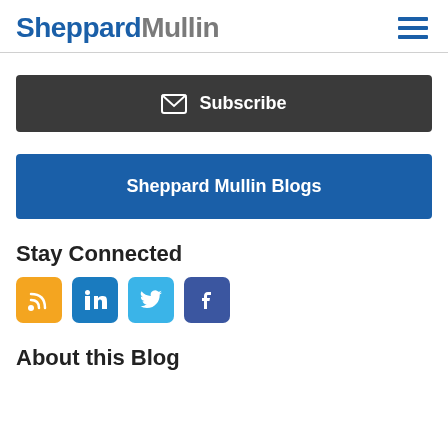SheppardMullin
Subscribe
Sheppard Mullin Blogs
Stay Connected
[Figure (infographic): Social media icons: RSS (orange), LinkedIn (blue), Twitter (light blue), Facebook (dark blue)]
About this Blog